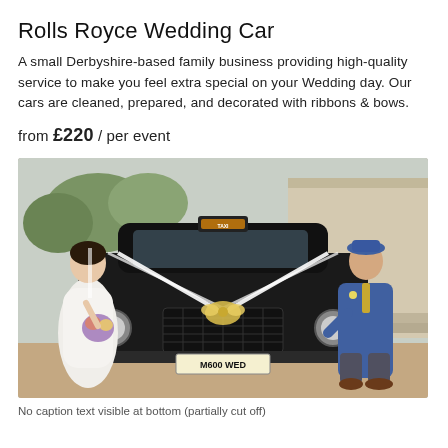Rolls Royce Wedding Car
A small Derbyshire-based family business providing high-quality service to make you feel extra special on your Wedding day. Our cars are cleaned, prepared, and decorated with ribbons & bows.
from £220 / per event
[Figure (photo): Black classic taxi-style wedding car decorated with white ribbons and a gold bow, with license plate M600 WED. A bride in a white dress holding a bouquet stands on the left, and a groom in a blue checked suit stands on the right, both leaning on the car.]
No caption text visible (partially cut off at bottom)